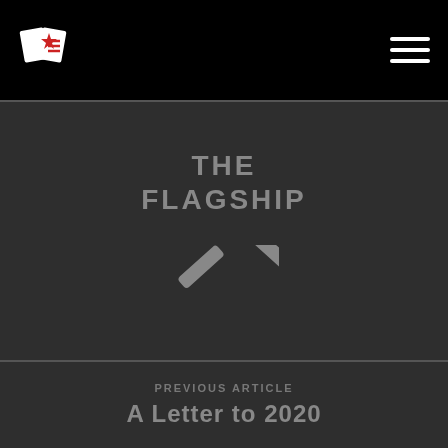The Flagship — navigation header with logo and hamburger menu
THE FLAGSHIP
[Figure (illustration): Upward-pointing chevron/caret icon in grey]
PREVIOUS ARTICLE
A Letter to 2020